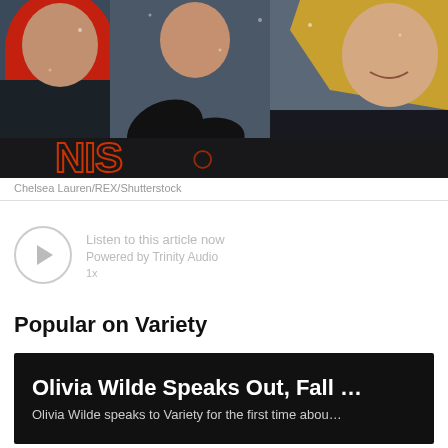[Figure (photo): People at a sports stadium in winter clothes, including someone in a red scarf and a blonde woman in a black jacket, with a banner visible at the bottom.]
Chelsea Lauren/REX/Shutterstock
[Figure (other): Listen to this article audio widget with play button circle and text prompts.]
Popular on Variety
[Figure (screenshot): Article card with dark background showing headline: Olivia Wilde Speaks Out, Fall ... and subtitle: Olivia Wilde speaks to Variety for the first time abou...]